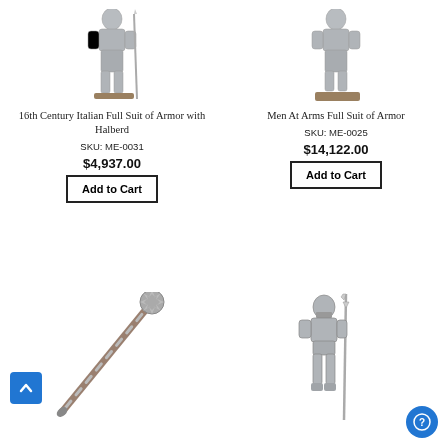[Figure (photo): 16th Century Italian Full Suit of Armor with Halberd product image - silver full armor on stand]
16th Century Italian Full Suit of Armor with Halberd
SKU: ME-0031
$4,937.00
Add to Cart
[Figure (photo): Men At Arms Full Suit of Armor product image - silver full armor on wooden base]
Men At Arms Full Suit of Armor
SKU: ME-0025
$14,122.00
Add to Cart
[Figure (photo): Medieval mace/morning star weapon - long handle with spiked ball end]
[Figure (photo): Suit of armor figure holding a halberd/polearm]